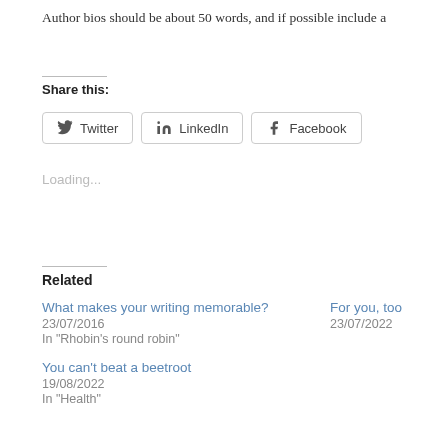Author bios should be about 50 words, and if possible include a
Share this:
Twitter  LinkedIn  Facebook
Loading...
Related
What makes your writing memorable?
23/07/2016
In "Rhobin's round robin"
For you, too
23/07/2022
You can't beat a beetroot
19/08/2022
In "Health"